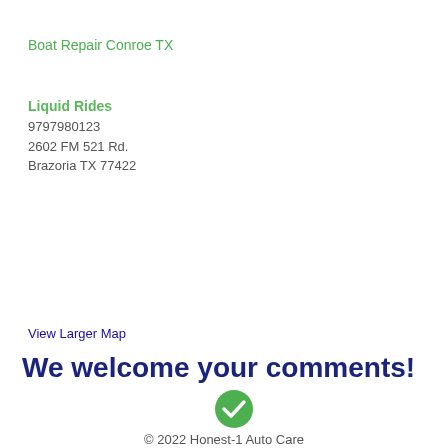Boat Repair Conroe TX
Liquid Rides
9797980123
2602 FM 521 Rd.
Brazoria TX 77422
View Larger Map
We welcome your comments!
[Figure (illustration): Green circle with white checkmark icon]
© 2022 Honest-1 Auto Care